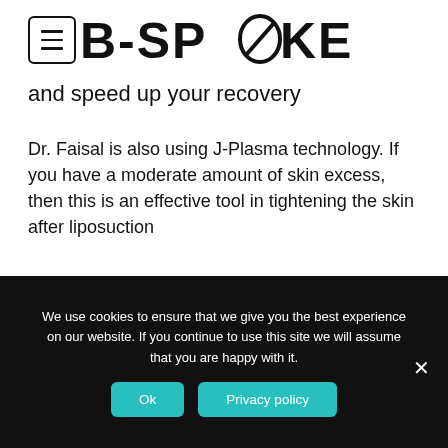[Figure (logo): B-SPOKE logo with menu hamburger icon on the left]
and speed up your recovery
Dr. Faisal is also using J-Plasma technology. If you have a moderate amount of skin excess, then this is an effective tool in tightening the skin after liposuction
WHAT IS A THIGH
We use cookies to ensure that we give you the best experience on our website. If you continue to use this site we will assume that you are happy with it.